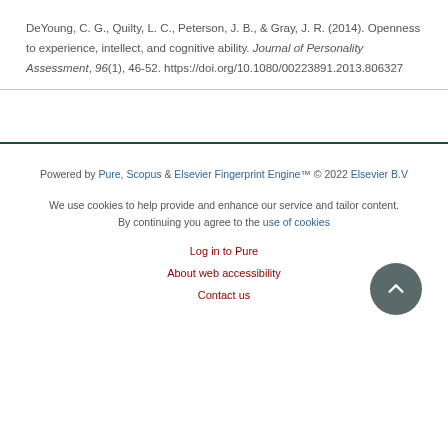DeYoung, C. G., Quilty, L. C., Peterson, J. B., & Gray, J. R. (2014). Openness to experience, intellect, and cognitive ability. Journal of Personality Assessment, 96(1), 46-52. https://doi.org/10.1080/00223891.2013.806327
Powered by Pure, Scopus & Elsevier Fingerprint Engine™ © 2022 Elsevier B.V
We use cookies to help provide and enhance our service and tailor content. By continuing you agree to the use of cookies
Log in to Pure
About web accessibility
Contact us